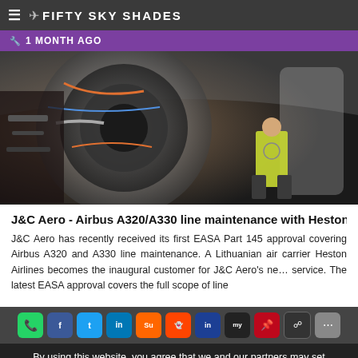FIFTY SKY SHADES
1 MONTH AGO
[Figure (photo): Aircraft engine interior maintenance photo showing engine components and a worker in a yellow high-visibility vest inside an aircraft fuselage]
J&C Aero - Airbus A320/A330 line maintenance with Heston A
J&C Aero has recently received its first EASA Part 145 approval covering Airbus A320 and A330 line maintenance. A Lithuanian air carrier Heston Airlines becomes the inaugural customer for J&C Aero's ne... service. The latest EASA approval covers the full scope of line
[Figure (infographic): Social sharing buttons row: WhatsApp, Facebook, Twitter, LinkedIn, StumbleUpon, Reddit, LinkedIn variant, myspace, Pinterest, Flipboard, and a gray button]
By using this website, you agree that we and our partners may set cookies for purposes such as customising content and advertising. OK
« 1 2 3 4 5 6 7 8 ...